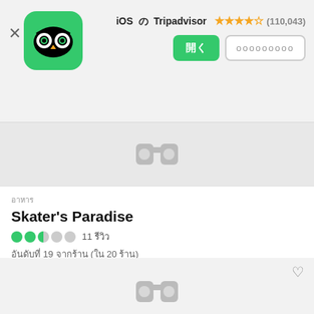[Figure (screenshot): Tripadvisor app icon - green rounded square with owl face logo]
iOS の Tripadvisor ★★★★½ (110,043)
開く
ооооооооо
[Figure (illustration): Gray placeholder binoculars icon on light gray background]
อาหาร
Skater's Paradise
●●◑○○ 11 รีวิว
อันดับที่ 19 จากร้าน (ใน 20 ร้าน)
[Figure (illustration): Gray placeholder binoculars icon on light gray background (second card)]